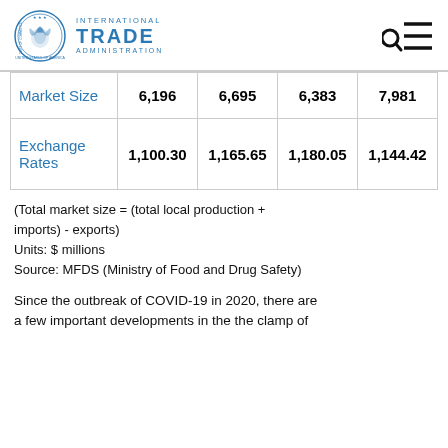International Trade Administration
|  |  |  |  |  |
| --- | --- | --- | --- | --- |
| Market Size | 6,196 | 6,695 | 6,383 | 7,981 |
| Exchange Rates | 1,100.30 | 1,165.65 | 1,180.05 | 1,144.42 |
(Total market size = (total local production + imports) - exports)
Units: $ millions
Source: MFDS (Ministry of Food and Drug Safety)
Since the outbreak of COVID-19 in 2020, there are a few important developments in the the clamp of ...